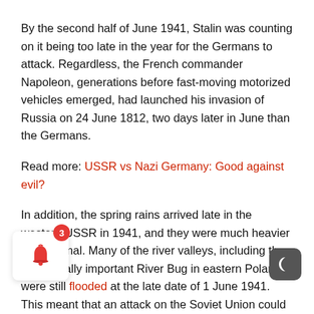By the second half of June 1941, Stalin was counting on it being too late in the year for the Germans to attack. Regardless, the French commander Napoleon, generations before fast-moving motorized vehicles emerged, had launched his invasion of Russia on 24 June 1812, two days later in June than the Germans.
Read more: USSR vs Nazi Germany: Good against evil?
In addition, the spring rains arrived late in the western USSR in 1941, and they were much heavier than normal. Many of the river valleys, including the strategically important River Bug in eastern Poland, were still flooded at the late date of 1 June 1941. This meant that an attack on the Soviet Union could not have proceeded until after then.